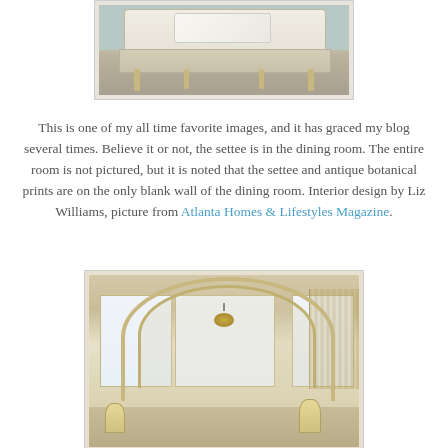[Figure (photo): A French-style settee with a white patterned pillow, gold/natural wood frame with decorative carvings, upholstered in beige/taupe fabric, against a pale blue-gray wall.]
This is one of my all time favorite images, and it has graced my blog several times. Believe it or not, the settee is in the dining room. The entire room is not pictured, but it is noted that the settee and antique botanical prints are on the only blank wall of the dining room. Interior design by Liz Williams, picture from Atlanta Homes & Lifestyles Magazine.
[Figure (photo): An elegant room interior viewed through a large arched doorway with gold/beige molding. Inside the arch, a formal room with tall windows, draped curtains, a chandelier, and classic furniture including dining chairs and lamps.]